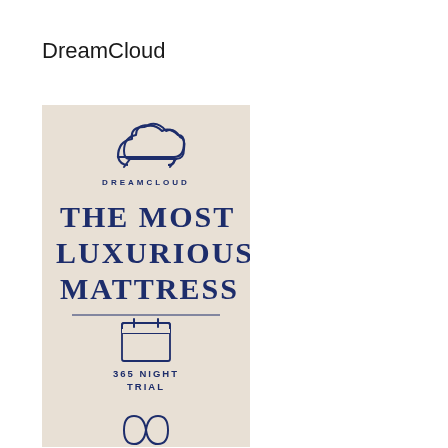DreamCloud
[Figure (infographic): DreamCloud branded infographic on a beige/cream background. Shows the DreamCloud logo (cloud icon above text 'DREAMCLOUD'), large serif headline text 'THE MOST LUXURIOUS MATTRESS', a horizontal divider line, a calendar icon, text '365 NIGHT TRIAL', and a partially visible infinity/bowtie icon at the bottom.]